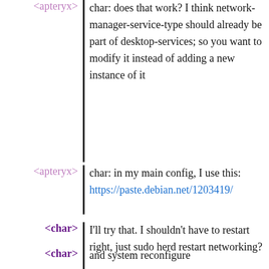<apteryx> char: does that work? I think network-manager-service-type should already be part of desktop-services; so you want to modify it instead of adding a new instance of it
<apteryx> char: in my main config, I use this: https://paste.debian.net/1203419/
<char> I'll try that. I shouldn't have to restart right, just sudo herd restart networking?
<char> and system reconfigure